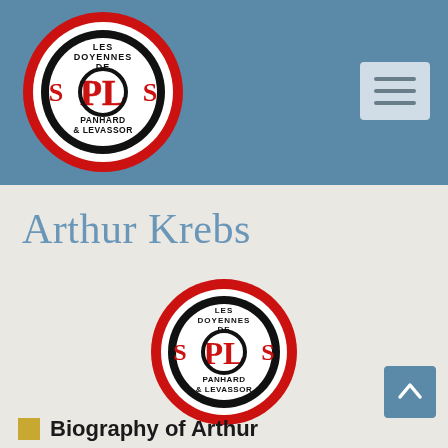[Figure (logo): Les Doyennes de Panhard & Levassor circular logo in header — red outer ring, black inner ring, stylized red 'PL' monogram on white center, text 'LES DOYENNES DE' at top and 'PANHARD & LEVASSOR' at bottom]
[Figure (screenshot): Hamburger menu button — light blue-grey rounded rectangle with three horizontal dark grey bars]
Arthur Krebs
[Figure (logo): Les Doyennes de Panhard & Levassor circular logo centered on page — red outer ring, black inner ring, stylized red 'PL' monogram on white center, text 'LES DOYENNES DE' at top and 'PANHARD & LEVASSOR' at bottom]
[Figure (illustration): Blue 'back to top' button with white upward-pointing chevron/caret icon]
Biography of Arthur